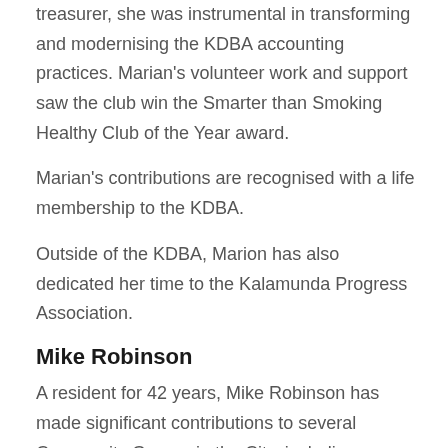treasurer, she was instrumental in transforming and modernising the KDBA accounting practices. Marian's volunteer work and support saw the club win the Smarter than Smoking Healthy Club of the Year award.
Marian's contributions are recognised with a life membership to the KDBA.
Outside of the KDBA, Marion has also dedicated her time to the Kalamunda Progress Association.
Mike Robinson
A resident for 42 years, Mike Robinson has made significant contributions to several Community Groups in the City, including a lifetime of significant involvement in the Kalamunda and Districts Hockey Club (KDHC).
As a player, Mike was in the top team for a decade before